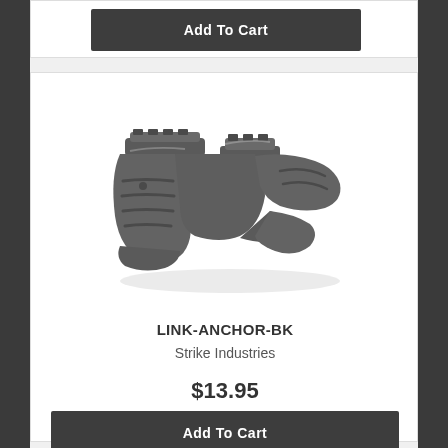Add To Cart
[Figure (photo): LINK-ANCHOR-BK angled foregrip by Strike Industries, dark gray polymer, shown from a front-left angle on white background]
LINK-ANCHOR-BK
Strike Industries
$13.95
Add To Cart